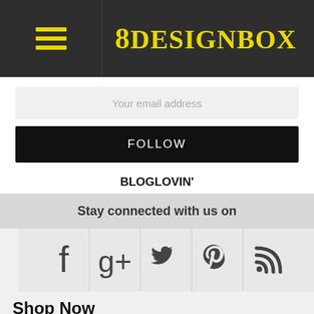8 DESIGNBOX
Your email address
FOLLOW
BLOGLOVIN'
Stay connected with us on
[Figure (infographic): Row of social media icons: Facebook, Google+, Twitter, Pinterest, RSS feed]
Shop Now
[Figure (photo): Three book cover thumbnails: Best Sellers, Richard Osman (Thursday Murder Club), Rosie Walsh The Love]